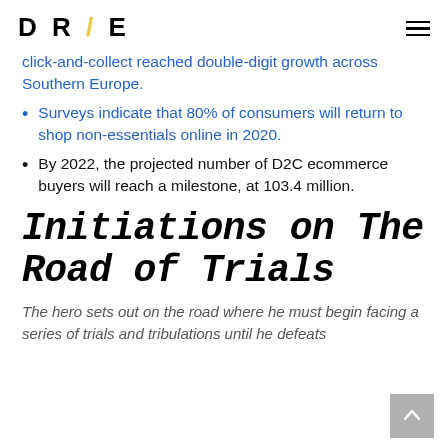DRIVE (logo with yellow slash)
click-and-collect reached double-digit growth across Southern Europe.
Surveys indicate that 80% of consumers will return to shop non-essentials online in 2020.
By 2022, the projected number of D2C ecommerce buyers will reach a milestone, at 103.4 million.
Initiations on The Road of Trials
The hero sets out on the road where he must begin facing a series of trials and tribulations until he defeats